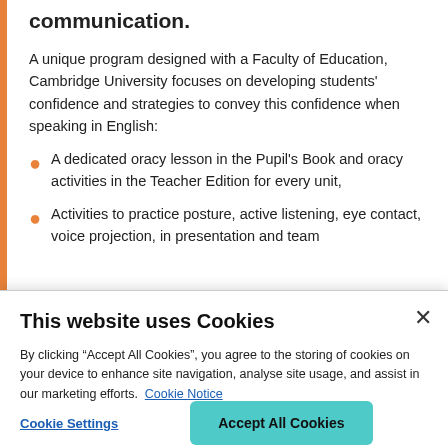communication.
A unique program designed with a Faculty of Education, Cambridge University focuses on developing students' confidence and strategies to convey this confidence when speaking in English:
A dedicated oracy lesson in the Pupil's Book and oracy activities in the Teacher Edition for every unit,
Activities to practice posture, active listening, eye contact, voice projection, in presentation and team...
This website uses Cookies
By clicking “Accept All Cookies”, you agree to the storing of cookies on your device to enhance site navigation, analyse site usage, and assist in our marketing efforts. Cookie Notice
Cookie Settings
Accept All Cookies